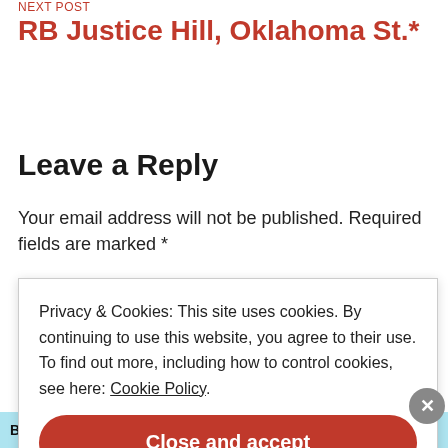NEXT POST
RB Justice Hill, Oklahoma St.*
Leave a Reply
Your email address will not be published. Required fields are marked *
Privacy & Cookies: This site uses cookies. By continuing to use this website, you agree to their use. To find out more, including how to control cookies, see here: Cookie Policy
Close and accept